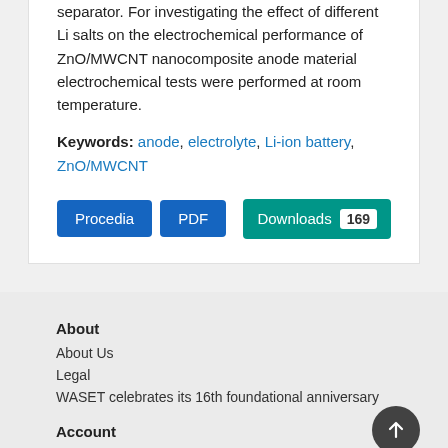separator. For investigating the effect of different Li salts on the electrochemical performance of ZnO/MWCNT nanocomposite anode material electrochemical tests were performed at room temperature.
Keywords: anode, electrolyte, Li-ion battery, ZnO/MWCNT
Procedia  PDF  Downloads 169
About
About Us
Legal
WASET celebrates its 16th foundational anniversary
Account
Login